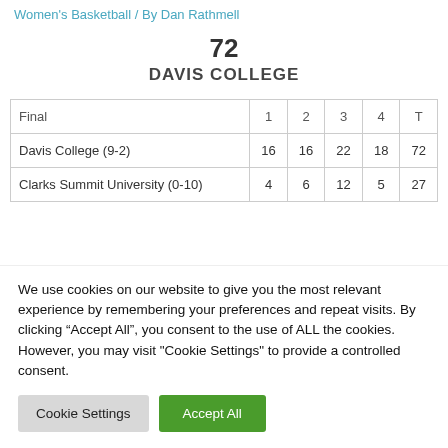Women's Basketball / By Dan Rathmell
72
DAVIS COLLEGE
| Final | 1 | 2 | 3 | 4 | T |
| --- | --- | --- | --- | --- | --- |
| Davis College (9-2) | 16 | 16 | 22 | 18 | 72 |
| Clarks Summit University (0-10) | 4 | 6 | 12 | 5 | 27 |
We use cookies on our website to give you the most relevant experience by remembering your preferences and repeat visits. By clicking “Accept All”, you consent to the use of ALL the cookies. However, you may visit "Cookie Settings" to provide a controlled consent.